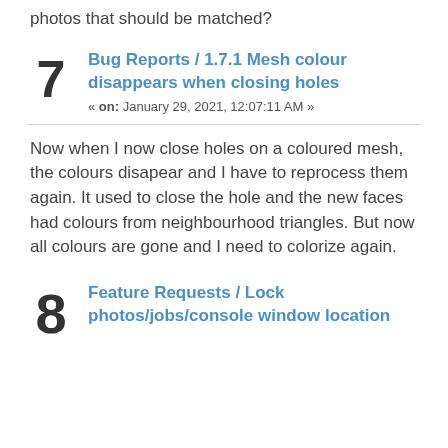photos that should be matched?
Bug Reports / 1.7.1 Mesh colour disappears when closing holes
« on: January 29, 2021, 12:07:11 AM »
Now when I now close holes on a coloured mesh, the colours disapear and I have to reprocess them again. It used to close the hole and the new faces had colours from neighbourhood triangles. But now all colours are gone and I need to colorize again.
Feature Requests / Lock photos/jobs/console window location